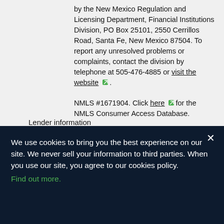by the New Mexico Regulation and Licensing Department, Financial Institutions Division, PO Box 25101, 2550 Cerrillos Road, Santa Fe, New Mexico 87504. To report any unresolved problems or complaints, contact the division by telephone at 505-476-4885 or visit the website [external link].
NMLS #1671904. Click here [external link] for the NMLS Consumer Access Database.
Lender information
Personal loans in AZ, CA, FL, ID, IL, MO, NJ, NM, TX, UT, and WI are originated by Oportun Inc. NV loans originated by Oportun, LLC.
Personal loans in AL, AK, AR, DE, GA, HI, IN, KS, KY, LA, MI, MN,
We use cookies to bring you the best experience on our site. We never sell your information to third parties. When you use our site, you agree to our cookies policy. Find out more.